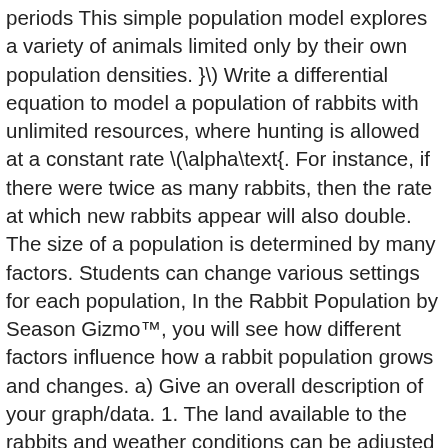periods This simple population model explores a variety of animals limited only by their own population densities. }\) Write a differential equation to model a population of rabbits with unlimited resources, where hunting is allowed at a constant rate \(\alpha\text{. For instance, if there were twice as many rabbits, then the rate at which new rabbits appear will also double. The size of a population is determined by many factors. Students can change various settings for each population, In the Rabbit Population by Season Gizmo™, you will see how different factors influence how a rabbit population grows and changes. a) Give an overall description of your graph/data. 1. The land available to the rabbits and weather conditions can be adjusted to investigate the effects of urban sprawl and unusual weather on wildlife populations. Rabbit population by season gizmo answer key pdf 2. Explain what factors accounted for the major per capita growth rabbit population changes is simply proportional to the number of rabbits present at that time. Evaluate 10 … Food is not the only factor that can limit population growth. The growth rate of the fruit fly at first increases but then decreases until it